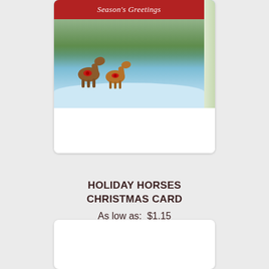[Figure (photo): A greeting card showing two horses wearing red bows standing in a snowy winter scene with evergreen trees. The card has a red banner at the top reading 'Season's Greetings' in italic white script. The card is shown in a folded tent position.]
HOLIDAY HORSES CHRISTMAS CARD
As low as:  $1.15
[Figure (other): Heart/favorite icon (outline heart shape in light gray)]
[Figure (other): Bottom product card, partially visible, white background with rounded corners]